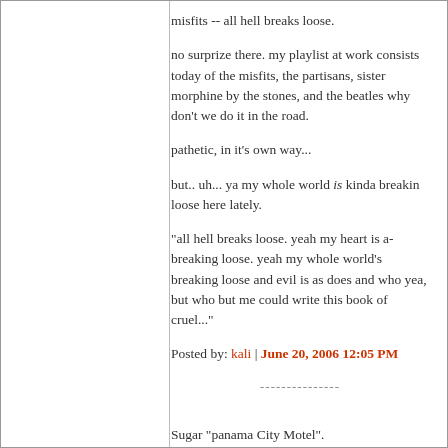misfits -- all hell breaks loose.
no surprize there. my playlist at work consists today of the misfits, the partisans, sister morphine by the stones, and the beatles why don't we do it in the road.
pathetic, in it's own way...
but.. uh... ya my whole world is kinda breakin loose here lately.
"all hell breaks loose. yeah my heart is a-breaking loose. yeah my whole world's breaking loose and evil is as does and who yea, but who but me could write this book of cruel..."
Posted by: kali | June 20, 2006 12:05 PM
---------------
Sugar "panama City Motel".
I gotta say i never got into Sugar like i did Husker Du. I think i have to have a fat buzz to really dig this particular song, too. I haven't listened to it in ages. Just loaded all my shit into winamp, hit shuffle, hit play.